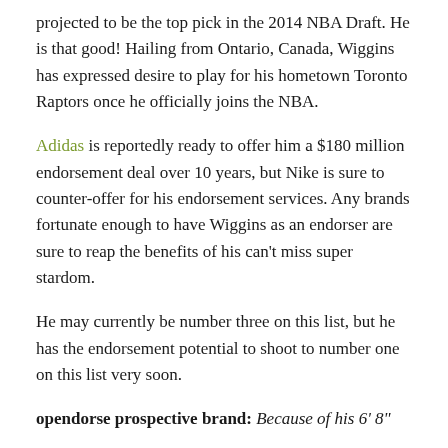projected to be the top pick in the 2014 NBA Draft. He is that good! Hailing from Ontario, Canada, Wiggins has expressed desire to play for his hometown Toronto Raptors once he officially joins the NBA.
Adidas is reportedly ready to offer him a $180 million endorsement deal over 10 years, but Nike is sure to counter-offer for his endorsement services. Any brands fortunate enough to have Wiggins as an endorser are sure to reap the benefits of his can't miss super stardom.
He may currently be number three on this list, but he has the endorsement potential to shoot to number one on this list very soon.
opendorse prospective brand: Because of his 6' 8"